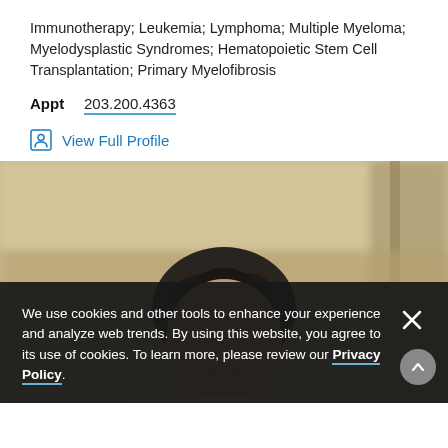Immunotherapy; Leukemia; Lymphoma; Multiple Myeloma; Myelodysplastic Syndromes; Hematopoietic Stem Cell Transplantation; Primary Myelofibrosis
Appt   203.200.4363
View Full Profile
[Figure (photo): Partial portrait photo of a person with dark curly hair, blurred background showing an office or institutional setting. A cookie consent banner overlays the lower portion of the photo.]
We use cookies and other tools to enhance your experience and analyze web trends. By using this website, you agree to its use of cookies. To learn more, please review our Privacy Policy.